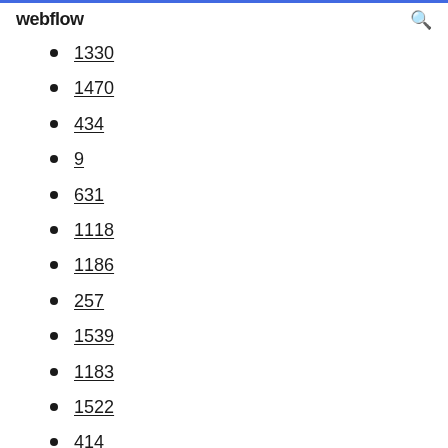webflow
1330
1470
434
9
631
1118
1186
257
1539
1183
1522
414
698